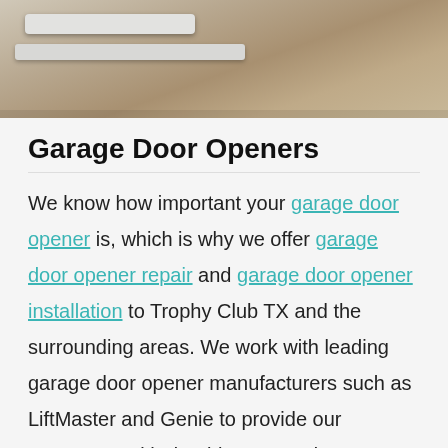[Figure (photo): Photograph of a garage door area showing concrete driveway surface and partial view of garage door components including white pipes or rails]
Garage Door Openers
We know how important your garage door opener is, which is why we offer garage door opener repair and garage door opener installation to Trophy Club TX and the surrounding areas. We work with leading garage door opener manufacturers such as LiftMaster and Genie to provide our customers with durable garage door openers.